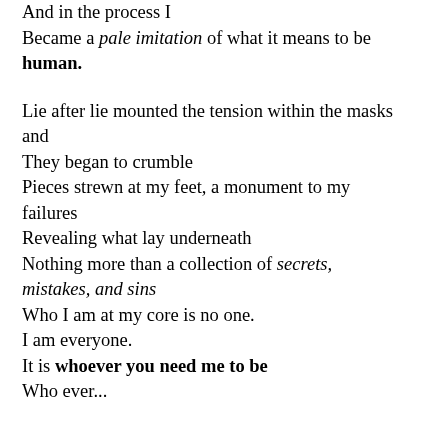And in the process I
Became a pale imitation of what it means to be human.

Lie after lie mounted the tension within the masks and
They began to crumble
Pieces strewn at my feet, a monument to my failures
Revealing what lay underneath
Nothing more than a collection of secrets, mistakes, and sins
Who I am at my core is no one.
I am everyone.
It is whoever you need me to be
Who ever...